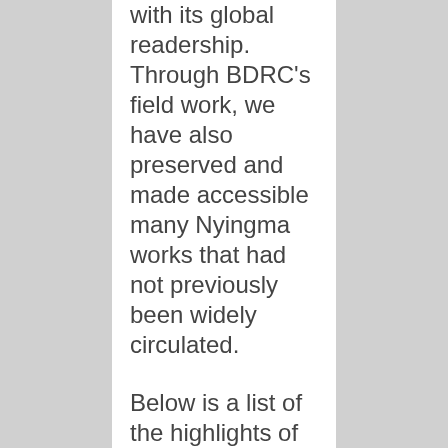with its global readership. Through BDRC's field work, we have also preserved and made accessible many Nyingma works that had not previously been widely circulated.
Below is a list of the highlights of our recent Nyingma acquisitions. Please consider making a tax-deductible